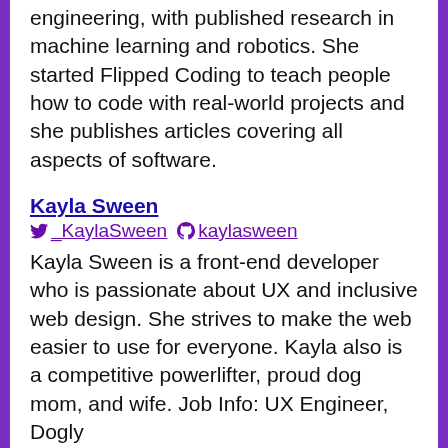engineering, with published research in machine learning and robotics. She started Flipped Coding to teach people how to code with real-world projects and she publishes articles covering all aspects of software.
Kayla Sween
_KaylaSween  kaylasween
Kayla Sween is a front-end developer who is passionate about UX and inclusive web design. She strives to make the web easier to use for everyone. Kayla also is a competitive powerlifter, proud dog mom, and wife. Job Info: UX Engineer, Dogly
Show Notes
JavaScript